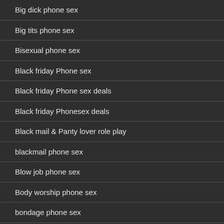Big dick phone sex
Big tits phone sex
Bisexual phone sex
Black friday Phone sex
Black friday Phone sex deals
Black friday Phonesex deals
Black mail & Panty lover role play
blackmail phone sex
Blow job phone sex
Body worship phone sex
bondage phone sex